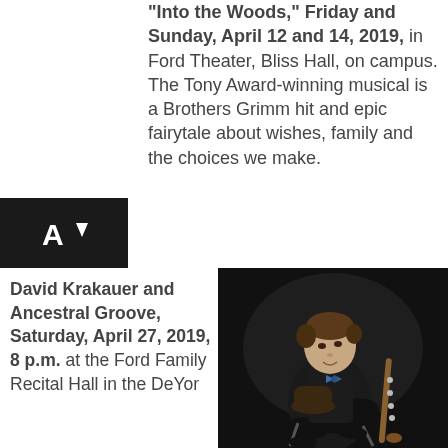"Into the Woods," Friday and Sunday, April 12 and 14, 2019, in Ford Theater, Bliss Hall, on campus. The Tony Award-winning musical is a Brothers Grimm hit and epic fairytale about wishes, family and the choices we make.
[Figure (logo): AI logo mark on black background]
David Krakauer and Ancestral Groove, Saturday, April 27, 2019, 8 p.m. at the Ford Family Recital Hall in the DeYor
[Figure (photo): Man in dark suit seated on a chair, holding a hat, with a clarinet leaning against the chair, dark background]